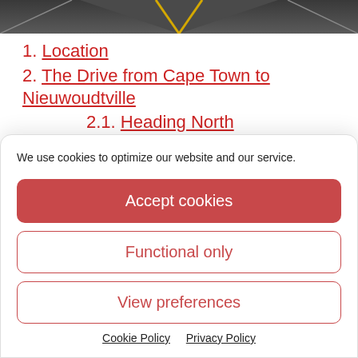[Figure (photo): Road aerial view with yellow center lines, dark asphalt]
1. Location
2. The Drive from Cape Town to Nieuwoudtville
2.1. Heading North
2.2. Vanrhyns Pass
3. Top Activities in and around Nieuwoudtville
We use cookies to optimize our website and our service.
Accept cookies
Functional only
View preferences
Cookie Policy   Privacy Policy